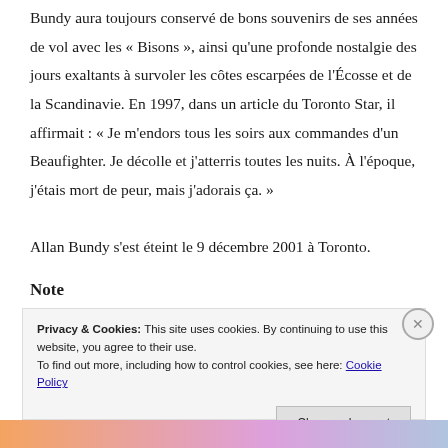Bundy aura toujours conservé de bons souvenirs de ses années de vol avec les « Bisons », ainsi qu'une profonde nostalgie des jours exaltants à survoler les côtes escarpées de l'Écosse et de la Scandinavie. En 1997, dans un article du Toronto Star, il affirmait : « Je m'endors tous les soirs aux commandes d'un Beaufighter. Je décolle et j'atterris toutes les nuits. À l'époque, j'étais mort de peur, mais j'adorais ça. »
Allan Bundy s'est éteint le 9 décembre 2001 à Toronto.
Note
Privacy & Cookies: This site uses cookies. By continuing to use this website, you agree to their use.
To find out more, including how to control cookies, see here: Cookie Policy
Close and accept